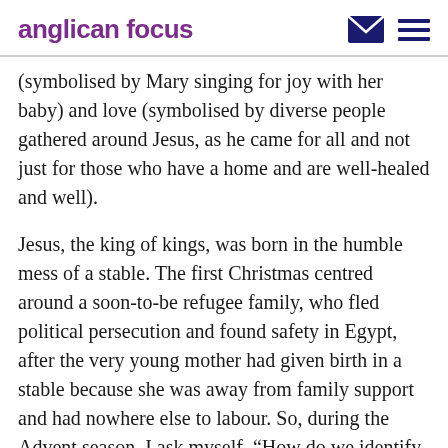anglican focus
(symbolised by Mary singing for joy with her baby) and love (symbolised by diverse people gathered around Jesus, as he came for all and not just for those who have a home and are well-healed and well).
Jesus, the king of kings, was born in the humble mess of a stable. The first Christmas centred around a soon-to-be refugee family, who fled political persecution and found safety in Egypt, after the very young mother had given birth in a stable because she was away from family support and had nowhere else to labour. So, during the Advent season, I ask myself, “How do we identify people who need a home and make room for them in the inn of our hearts?”